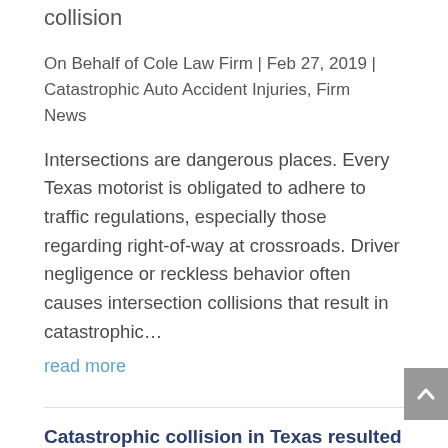collision
On Behalf of Cole Law Firm | Feb 27, 2019 | Catastrophic Auto Accident Injuries, Firm News
Intersections are dangerous places. Every Texas motorist is obligated to adhere to traffic regulations, especially those regarding right-of-way at crossroads. Driver negligence or reckless behavior often causes intersection collisions that result in catastrophic…
read more
Catastrophic collision in Texas resulted in a young woman's death
On Behalf of Cole Law Firm | Feb 12, 2019 | Catastrophic Auto Accident Injuries, Firm